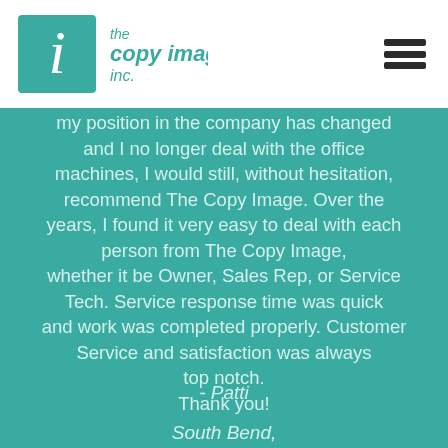[Figure (logo): The Copy Image, Inc. logo with stylized italic 'i' in a teal square and text 'the copy image, inc.' in teal]
my position in the company has changed and I no longer deal with the office machines, I would still, without hesitation, recommend The Copy Image. Over the years, I found it very easy to deal with each person from The Copy Image, whether it be Owner, Sales Rep, or Service Tech. Service response time was quick and work was completed properly. Customer Service and satisfaction was always top notch. Thank you!
- Patti
South Bend,